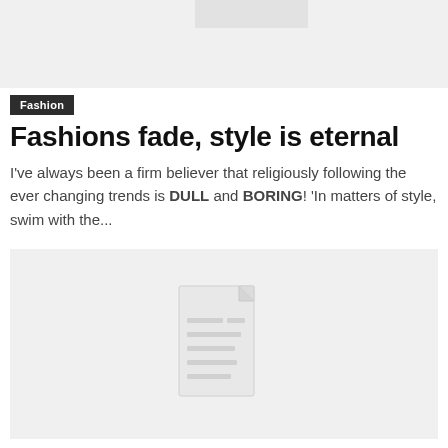[Figure (other): Top image placeholder area with a lighter gray rectangle inset at top center]
Fashion
Fashions fade, style is eternal
I've always been a firm believer that religiously following the ever changing trends is DULL and BORING! 'In matters of style, swim with the...
[Figure (other): A document/article card placeholder with a generic document icon (paper with folded corner and text lines) on a light gray background]